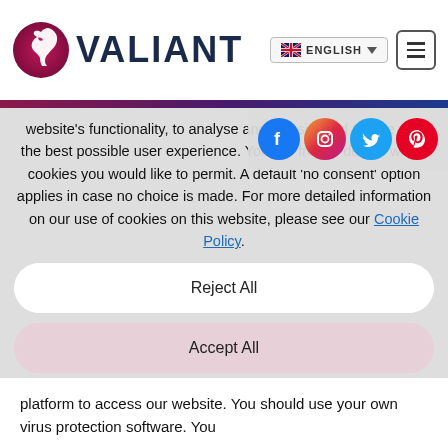[Figure (logo): Valiant logo with horse head icon and VALIANT text]
website's functionality, to analyse and website and to give you the best possible user experience. You are free to decide which cookies you would like to permit. A default 'no consent' option applies in case no choice is made. For more detailed information on our use of cookies on this website, please see our Cookie Policy.
Reject All
Accept All
Review Cookies
platform to access our website. You should use your own virus protection software. You